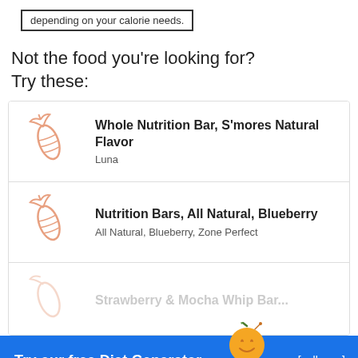depending on your calorie needs.
Not the food you're looking for? Try these:
| Icon | Name | Brand |
| --- | --- | --- |
| [carrot icon] | Whole Nutrition Bar, S'mores Natural Flavor | Luna |
| [carrot icon] | Nutrition Bars, All Natural, Blueberry | All Natural, Blueberry, Zone Perfect |
| [carrot icon] | [partially visible] |  |
Try our free Diet Generator
[collapse]
I want to eat 1500 calories in 4 meals.
Generate